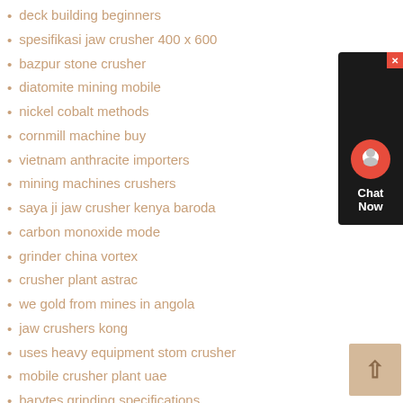deck building beginners
spesifikasi jaw crusher 400 x 600
bazpur stone crusher
diatomite mining mobile
nickel cobalt methods
cornmill machine buy
vietnam anthracite importers
mining machines crushers
saya ji jaw crusher kenya baroda
carbon monoxide mode
grinder china vortex
crusher plant astrac
we gold from mines in angola
jaw crushers kong
uses heavy equipment stom crusher
mobile crusher plant uae
barytes grinding specifications
crushing screening concrete
write business samples
goggles grinding precautions
medical waste regulated
[Figure (other): Chat Now widget with red circle icon and dark background on right side of page]
[Figure (other): Back to top button with upward arrow, beige/tan background, bottom right corner]